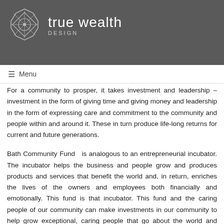true wealth DESIGN
daughter and not just a place left in a distant memory regardless of where the life journey may take us.
So now we plan to become involved in the community to help support our daughter in becoming the first person she and her family will be. We want to give her everything we did not have, including a deep sense of responsibility to the community.
For a community to prosper, it takes investment and leadership – investment in the form of giving time and giving money and leadership in the form of expressing care and commitment to the community and people within and around it. These in turn produce life-long returns for current and future generations.
Bath Community Fund  is analogous to an entrepreneurial incubator. The incubator helps the business and people grow and produces products and services that benefit the world and, in return, enriches the lives of the owners and employees both financially and emotionally. This fund is that incubator. This fund and the caring people of our community can make investments in our community to help grow exceptional, caring people that go about the world and exponentially improve not only our